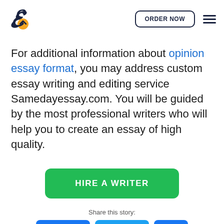Samedayessay.com logo, ORDER NOW button, hamburger menu
For additional information about opinion essay format, you may address custom essay writing and editing service Samedayessay.com. You will be guided by the most professional writers who will help you to create an essay of high quality.
HIRE A WRITER
Share this story: